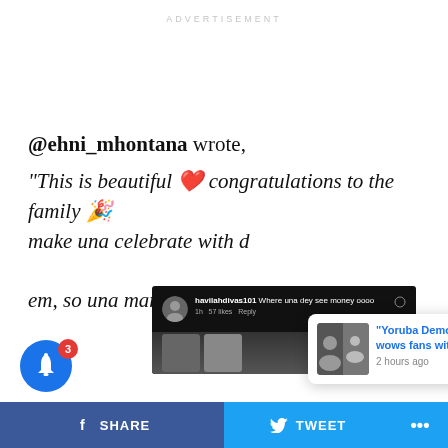ADVERTISEMENT
@ehni_mhontana wrote,
“This is beautiful ❤️ congratulations to the family 🎉 make una celebrate with d em, so una mama go fit buy cement 😑 ”
[Figure (screenshot): Social media comment screenshot showing havilahdivas101 comment: Where una dey see money oooo, 1h 57 likes Reply]
“Yoruba Demon” Olamide wows fans with his accent
2 hours ago